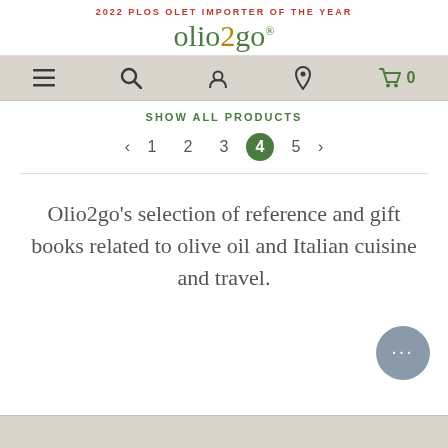2022 PLOS OLET IMPORTER OF THE YEAR
olio2go
[Figure (screenshot): Navigation bar with hamburger menu, search, account, location, and cart icons on a gray background]
SHOW ALL PRODUCTS
◄ 1 2 3 4 5 ►
Olio2go's selection of reference and gift books related to olive oil and Italian cuisine and travel.